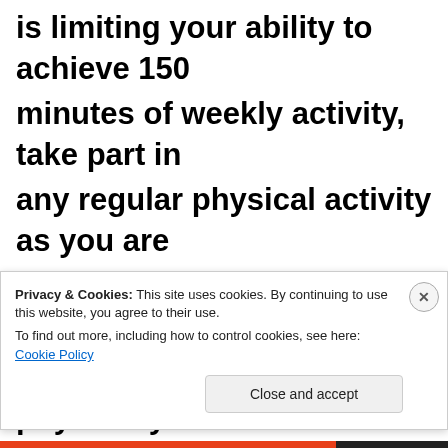is limiting your ability to achieve 150 minutes of weekly activity, take part in any regular physical activity as you are able. It's important to avoid inactivity. There are many ways to be physically active, so finding an activity you enjoy
Privacy & Cookies: This site uses cookies. By continuing to use this website, you agree to their use. To find out more, including how to control cookies, see here: Cookie Policy